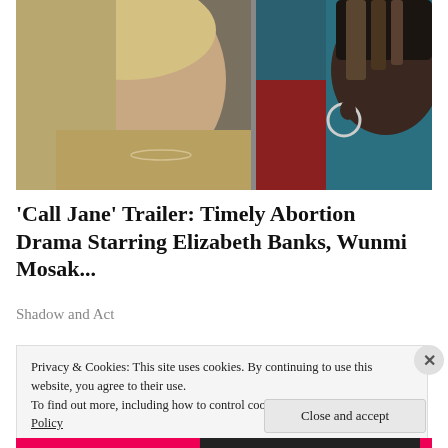[Figure (photo): Two women in a scene: one with blonde hair in profile wearing a tan top with a necklace, another woman with dark hair wearing hoop earrings against a teal and red background.]
'Call Jane' Trailer: Timely Abortion Drama Starring Elizabeth Banks, Wunmi Mosak...
Shadow and Act
Privacy & Cookies: This site uses cookies. By continuing to use this website, you agree to their use.
To find out more, including how to control cookies, see here: Cookie Policy